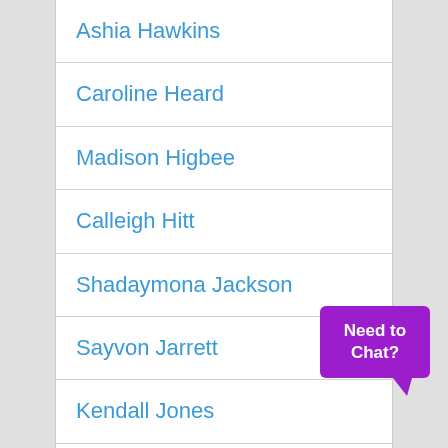Ashia Hawkins
Caroline Heard
Madison Higbee
Calleigh Hitt
Shadaymona Jackson
Sayvon Jarrett
Kendall Jones
Madison Kenney
Amonica Kirkland
[Figure (illustration): Purple speech bubble with white bold text reading 'Need to Chat?' positioned in the lower right corner]